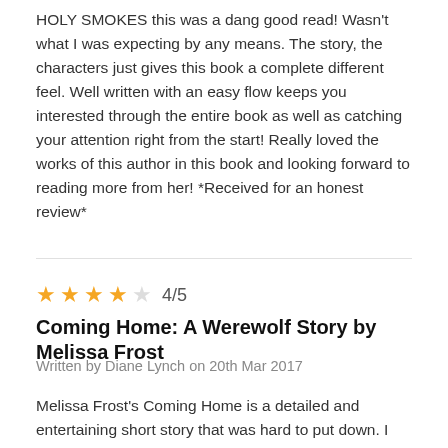HOLY SMOKES this was a dang good read! Wasn't what I was expecting by any means. The story, the characters just gives this book a complete different feel. Well written with an easy flow keeps you interested through the entire book as well as catching your attention right from the start! Really loved the works of this author in this book and looking forward to reading more from her! *Received for an honest review*
4/5
Coming Home: A Werewolf Story by Melissa Frost
Written by Diane Lynch on 20th Mar 2017
Melissa Frost's Coming Home is a detailed and entertaining short story that was hard to put down. I was impressed with all the information that was packed into this contemporary paranormal